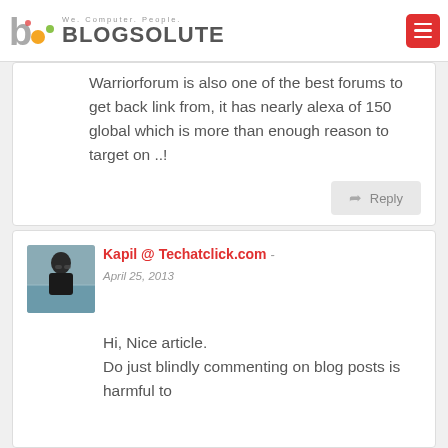Blogsolute — We. Computer. People.
Warriorforum is also one of the best forums to get back link from, it has nearly alexa of 150 global which is more than enough reason to target on ..!
Reply
[Figure (photo): Avatar photo of Kapil, a person standing near a beach/water]
Kapil @ Techatclick.com -
April 25, 2013
Hi, Nice article.
Do just blindly commenting on blog posts is harmful to